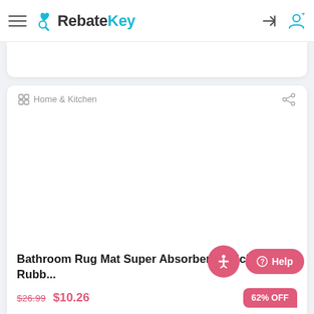RebateKey
Home & Kitchen
Bathroom Rug Mat Super Absorbent Quick Dry Rubb...
$26.99 $10.26
62% OFF